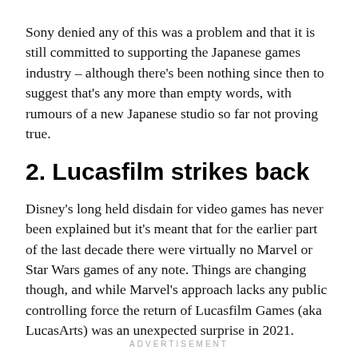Sony denied any of this was a problem and that it is still committed to supporting the Japanese games industry – although there's been nothing since then to suggest that's any more than empty words, with rumours of a new Japanese studio so far not proving true.
2. Lucasfilm strikes back
Disney's long held disdain for video games has never been explained but it's meant that for the earlier part of the last decade there were virtually no Marvel or Star Wars games of any note. Things are changing though, and while Marvel's approach lacks any public controlling force the return of Lucasfilm Games (aka LucasArts) was an unexpected surprise in 2021.
ADVERTISEMENT